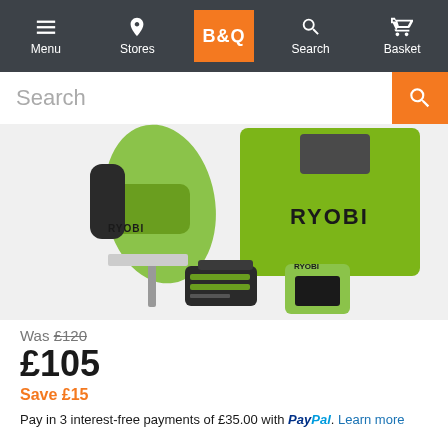B&Q navigation bar with Menu, Stores, B&Q logo, Search, Basket
[Figure (screenshot): B&Q website search bar with orange search button]
[Figure (photo): Ryobi cordless jigsaw kit with battery, charger and green carry bag]
Was £120
£105
Save £15
Pay in 3 interest-free payments of £35.00 with PayPal. Learn more